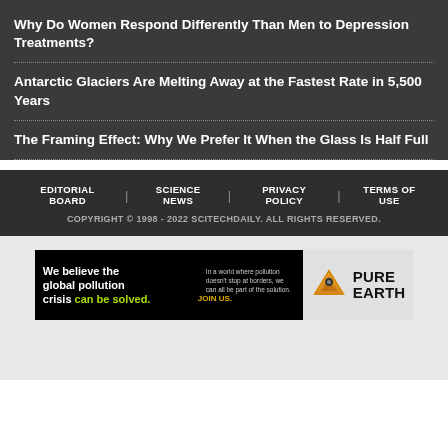Why Do Women Respond Differently Than Men to Depression Treatments?
Antarctic Glaciers Are Melting Away at the Fastest Rate in 5,500 Years
The Framing Effect: Why We Prefer It When the Glass Is Half Full
EDITORIAL BOARD | SCIENCE NEWS | PRIVACY POLICY | TERMS OF USE
COPYRIGHT © 1998 - 2022 SCITECHDAILY. ALL RIGHTS RESERVED.
[Figure (infographic): Pure Earth advertisement banner: 'We believe the global pollution crisis can be solved.' with Pure Earth logo]